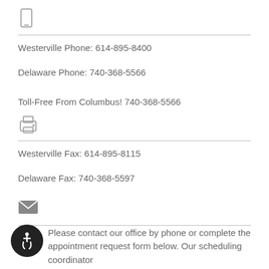[Figure (illustration): Mobile phone icon]
Westerville Phone: 614-895-8400
Delaware Phone: 740-368-5566
Toll-Free From Columbus! 740-368-5566
[Figure (illustration): Printer/fax icon]
Westerville Fax: 614-895-8115
Delaware Fax: 740-368-5597
[Figure (illustration): Email envelope icon]
[Figure (illustration): Accessibility wheelchair icon button]
Please contact our office by phone or complete the appointment request form below. Our scheduling coordinator